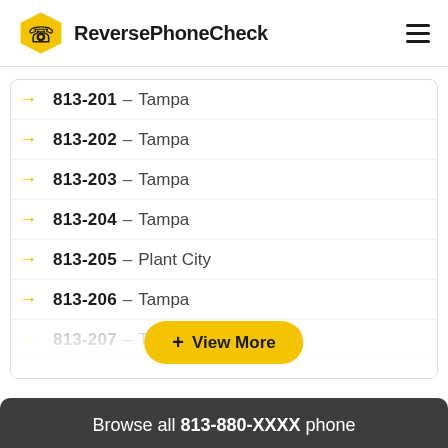ReversePhoneCheck
813-201 – Tampa
813-202 – Tampa
813-203 – Tampa
813-204 – Tampa
813-205 – Plant City
813-206 – Tampa
813-207 – T…
+ View More
Browse all 813-880-XXXX phone